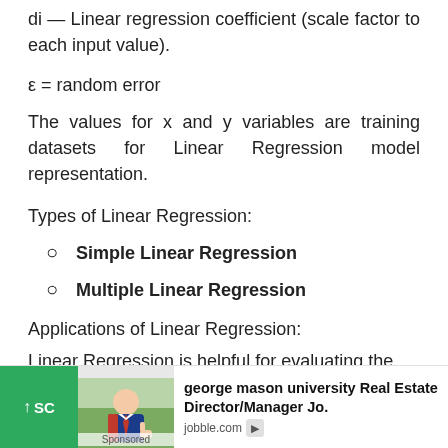di — Linear regression coefficient (scale factor to each input value).
ε = random error
The values for x and y variables are training datasets for Linear Regression model representation.
Types of Linear Regression:
Simple Linear Regression
Multiple Linear Regression
Applications of Linear Regression:
Linear Regression is helpful for evaluating the
[Figure (other): Advertisement banner for george mason university Real Estate Director/Manager job on jobble.com with a sponsored photo of a man in a suit and a green scroll-up button.]